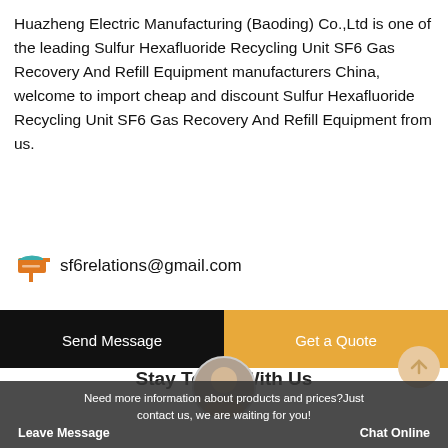Huazheng Electric Manufacturing (Baoding) Co.,Ltd is one of the leading Sulfur Hexafluoride Recycling Unit SF6 Gas Recovery And Refill Equipment manufacturers China, welcome to import cheap and discount Sulfur Hexafluoride Recycling Unit SF6 Gas Recovery And Refill Equipment from us.
sf6relations@gmail.com
Send Message
Get a Quote
Stay Touch With Us
[Figure (illustration): Customer service agent photo in circular frame]
[Figure (illustration): Scroll-to-top button, circular peach-colored arrow icon]
Need more information about products and prices?Just contact us, we are waiting for you!
Leave Message
Chat Online